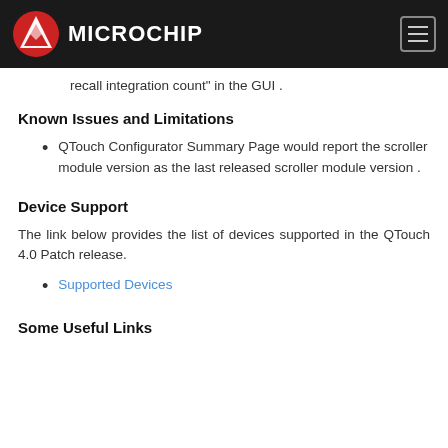Microchip
recall integration count" in the GUI .
Known Issues and Limitations
QTouch Configurator Summary Page would report the scroller module version as the last released scroller module version .
Device Support
The link below provides the list of devices supported in the QTouch 4.0 Patch release.
Supported Devices
Some Useful Links